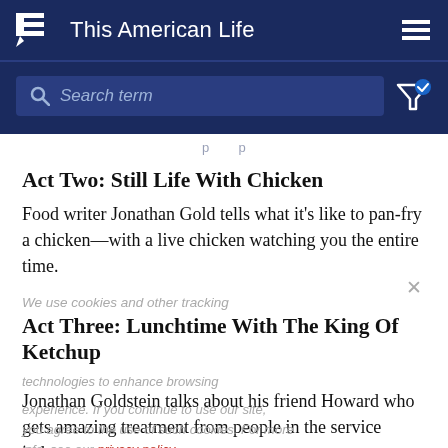This American Life
Search term
Act Two: Still Life With Chicken
Food writer Jonathan Gold tells what it's like to pan-fry a chicken—with a live chicken watching you the entire time.
Act Three: Lunchtime With The King Of Ketchup
Jonathan Goldstein talks about his friend Howard who gets amazing treatment from people in the service industry.
We use cookies and other tracking technologies to enhance browsing experience. If you continue to use our site, you agree to the use of such cookies. For more info, see our privacy policy.